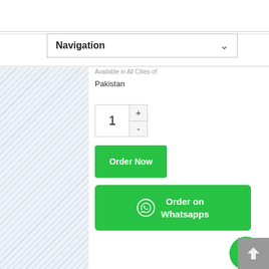[Figure (screenshot): Navigation dropdown UI element with chevron arrow]
Pakistan
[Figure (screenshot): Quantity selector with +/- buttons showing value 1]
[Figure (screenshot): Green Order Now button]
[Figure (screenshot): Green Order on Whatsapps button with WhatsApp icon]
[Figure (screenshot): Floating WhatsApp green circle button]
[Figure (screenshot): Scroll to top button with diamond/arrow icon]